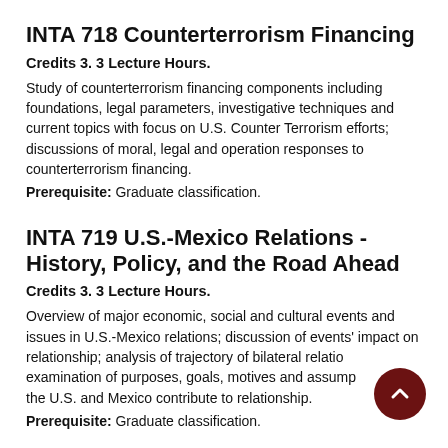INTA 718 Counterterrorism Financing
Credits 3. 3 Lecture Hours.
Study of counterterrorism financing components including foundations, legal parameters, investigative techniques and current topics with focus on U.S. Counter Terrorism efforts; discussions of moral, legal and operation responses to counterterrorism financing.
Prerequisite: Graduate classification.
INTA 719 U.S.-Mexico Relations - History, Policy, and the Road Ahead
Credits 3. 3 Lecture Hours.
Overview of major economic, social and cultural events and issues in U.S.-Mexico relations; discussion of events' impact on relationship; analysis of trajectory of bilateral relations; examination of purposes, goals, motives and assumptions that the U.S. and Mexico contribute to relationship.
Prerequisite: Graduate classification.